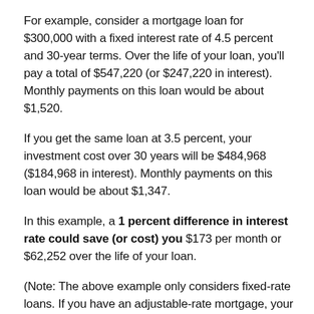For example, consider a mortgage loan for $300,000 with a fixed interest rate of 4.5 percent and 30-year terms. Over the life of your loan, you'll pay a total of $547,220 (or $247,220 in interest). Monthly payments on this loan would be about $1,520.
If you get the same loan at 3.5 percent, your investment cost over 30 years will be $484,968 ($184,968 in interest). Monthly payments on this loan would be about $1,347.
In this example, a 1 percent difference in interest rate could save (or cost) you $173 per month or $62,252 over the life of your loan.
(Note: The above example only considers fixed-rate loans. If you have an adjustable-rate mortgage, your total costs would differ depending on shifting interest rates.)